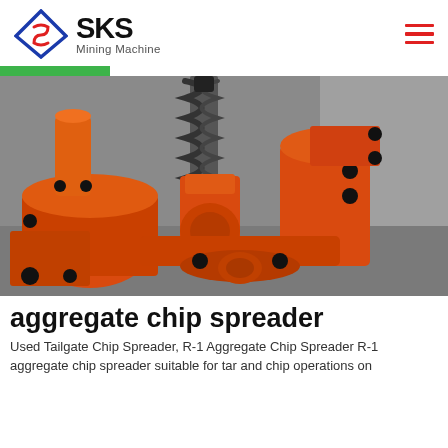SKS Mining Machine
[Figure (photo): Close-up photograph of orange-painted heavy industrial mining machine components including springs, bolts, and cast iron parts against a grey background]
aggregate chip spreader
Used Tailgate Chip Spreader, R-1 Aggregate Chip Spreader R-1 aggregate chip spreader suitable for tar and chip operations on